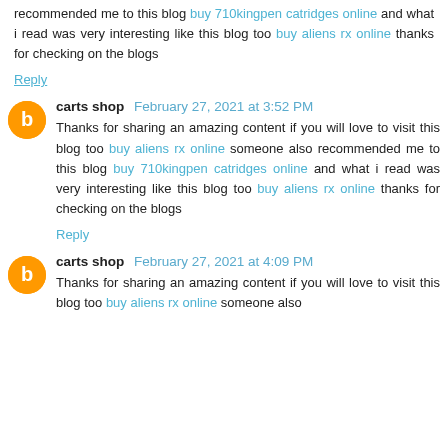recommended me to this blog buy 710kingpen catridges online and what i read was very interesting like this blog too buy aliens rx online thanks for checking on the blogs
Reply
carts shop  February 27, 2021 at 3:52 PM
Thanks for sharing an amazing content if you will love to visit this blog too buy aliens rx online someone also recommended me to this blog buy 710kingpen catridges online and what i read was very interesting like this blog too buy aliens rx online thanks for checking on the blogs
Reply
carts shop  February 27, 2021 at 4:09 PM
Thanks for sharing an amazing content if you will love to visit this blog too buy aliens rx online someone also